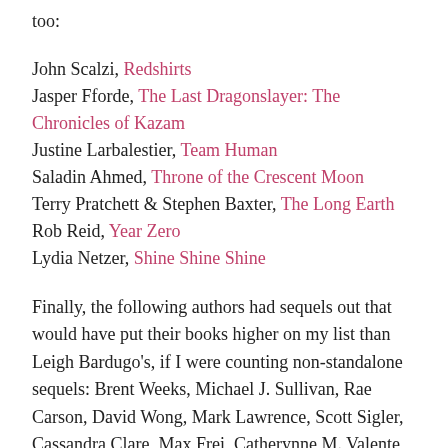too:
John Scalzi, Redshirts
Jasper Fforde, The Last Dragonslayer: The Chronicles of Kazam
Justine Larbalestier, Team Human
Saladin Ahmed, Throne of the Crescent Moon
Terry Pratchett & Stephen Baxter, The Long Earth
Rob Reid, Year Zero
Lydia Netzer, Shine Shine Shine
Finally, the following authors had sequels out that would have put their books higher on my list than Leigh Bardugo's, if I were counting non-standalone sequels: Brent Weeks, Michael J. Sullivan, Rae Carson, David Wong, Mark Lawrence, Scott Sigler, Cassandra Clare, Max Frei, Catherynne M. Valente, Lois McMaster Bujold, Jim Butcher, and James S. A. Corey. The scores of their earlier works are probably more comparable to the scores of the standalone /